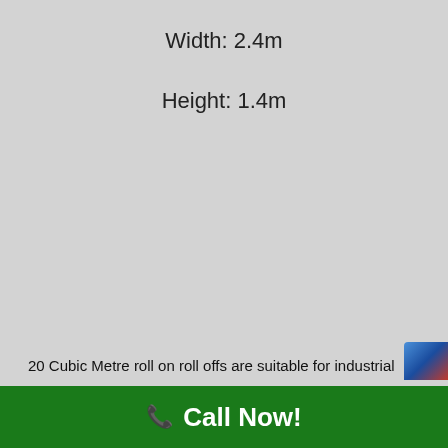Width: 2.4m
Height: 1.4m
20 Cubic Metre roll on roll offs are suitable for industrial
Call Now!